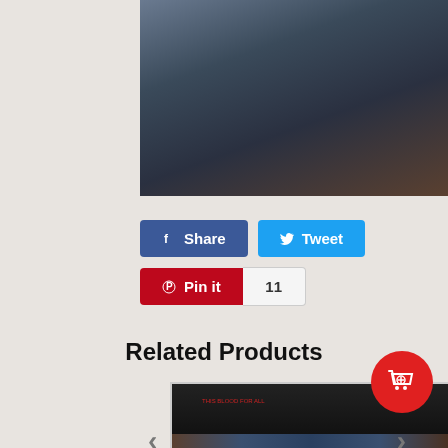[Figure (photo): Partial view of a scene with figures in dark clothing against a dark background, image is cropped at top]
[Figure (screenshot): Social sharing buttons: Facebook Share button (blue), Tweet button (light blue), Pin it button (red) with count of 11]
Related Products
[Figure (photo): Product image showing a group of people seated at a table in a Last Supper style arrangement with small red text above them, partial large letters visible at bottom]
< navigation left arrow
> navigation right arrow